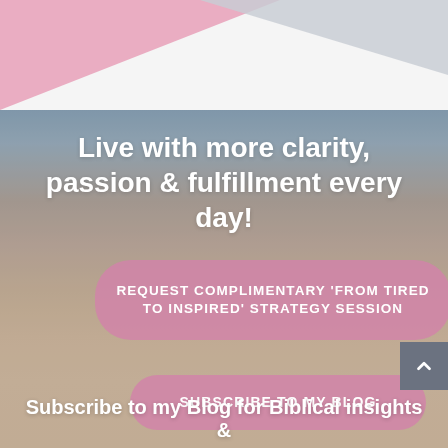[Figure (illustration): Top decorative triangles in pink and light gray on white background]
[Figure (photo): Background photo of a sandy beach with footprints and ocean/sky, gradient from blue-grey sky at top to warm sandy tones at bottom]
Live with more clarity, passion & fulfillment every day!
REQUEST COMPLIMENTARY 'FROM TIRED TO INSPIRED' STRATEGY SESSION
SUBSCRIBE TO MY BLOG
Subscribe to my Blog for Biblical insights &